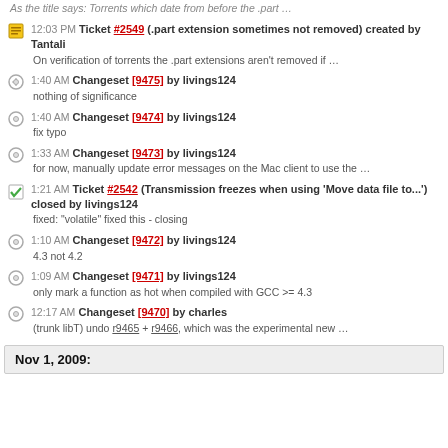As the title says: Torrents which date from before the .part …
12:03 PM Ticket #2549 (.part extension sometimes not removed) created by Tantali
On verification of torrents the .part extensions aren't removed if …
1:40 AM Changeset [9475] by livings124
nothing of significance
1:40 AM Changeset [9474] by livings124
fix typo
1:33 AM Changeset [9473] by livings124
for now, manually update error messages on the Mac client to use the …
1:21 AM Ticket #2542 (Transmission freezes when using 'Move data file to...') closed by livings124
fixed: "volatile" fixed this - closing
1:10 AM Changeset [9472] by livings124
4.3 not 4.2
1:09 AM Changeset [9471] by livings124
only mark a function as hot when compiled with GCC >= 4.3
12:17 AM Changeset [9470] by charles
(trunk libT) undo r9465 + r9466, which was the experimental new …
Nov 1, 2009: